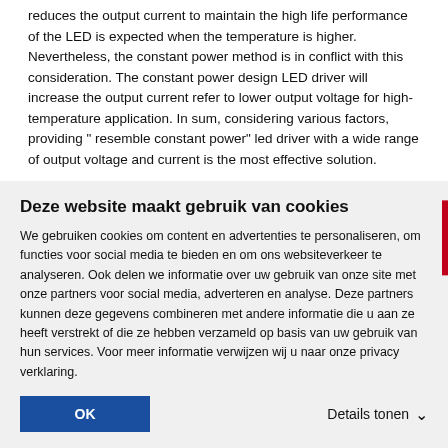reduces the output current to maintain the high life performance of the LED is expected when the temperature is higher. Nevertheless, the constant power method is in conflict with this consideration. The constant power design LED driver will increase the output current refer to lower output voltage for high-temperature application. In sum, considering various factors, providing " resemble constant power" led driver with a wide range of output voltage and current is the most effective solution.
The constant power LED drivers made by MEAN WELL are specially designed, providing customers with a wide range of voltage and current. To avoid unnecessary cost due to over-design, the misusage because of LED's characteristic, and causing damage to the lamps, offering a wide range, resemble constant power is currently the most sufficient solution.
Deze website maakt gebruik van cookies
We gebruiken cookies om content en advertenties te personaliseren, om functies voor social media te bieden en om ons websiteverkeer te analyseren. Ook delen we informatie over uw gebruik van onze site met onze partners voor social media, adverteren en analyse. Deze partners kunnen deze gegevens combineren met andere informatie die u aan ze heeft verstrekt of die ze hebben verzameld op basis van uw gebruik van hun services. Voor meer informatie verwijzen wij u naar onze privacy verklaring.
OK
Details tonen